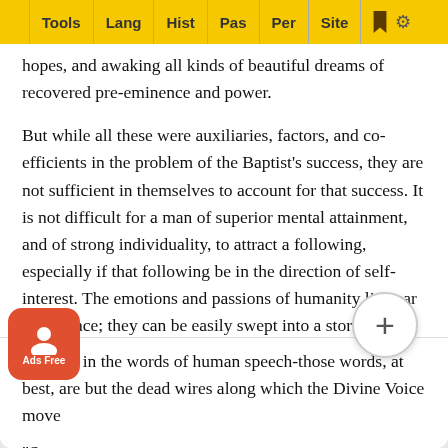Tools | Lang | Hist | Pas | Per | Site
hopes, and awaking all kinds of beautiful dreams of recovered pre-eminence and power.
But while all these were auxiliaries, factors, and co-efficients in the problem of the Baptist’s success, they are not sufficient in themselves to account for that success. It is not difficult for a man of superior mental attainment, and of strong individuality, to attract a following, especially if that following be in the direction of self-interest. The emotions and passions of humanity lie near the surface; they can be easily swept into a storm by the strong or by the pathetic voice. But to reach the conscience, to lift up the veil, and to pass within to that Most Holy of the human soul is what man, unaided, cannot do. Only the Divine Voice can break those deep silences of the heart; or if the human voice is used, the power is not in the words of human speech-those words, at best, are but the dead wires along which the Divine Voice moves.
"Some